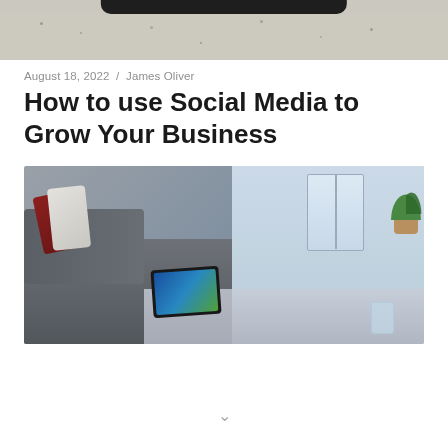[Figure (photo): Top portion of a phone on a granite/stone countertop surface, cropped at top]
August 18, 2022 / James Oliver
How to use Social Media to Grow Your Business
[Figure (photo): Living room scene with a grey sofa with red and white pillows, a glass coffee table with a tablet and glass of water on it, large window in background, and a green plant in the corner]